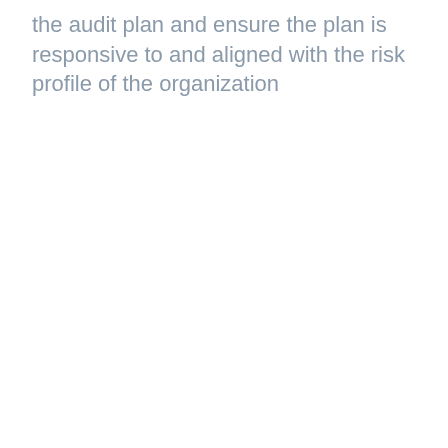the audit plan and ensure the plan is responsive to and aligned with the risk profile of the organization